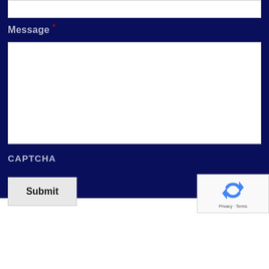Message *
[Figure (screenshot): Web contact form showing a text input bar at top, a Message label with red asterisk, a large textarea input box, a CAPTCHA label, a Submit button, and a reCAPTCHA widget in the bottom-right corner. Background is dark navy blue. The bottom portion of the page is white.]